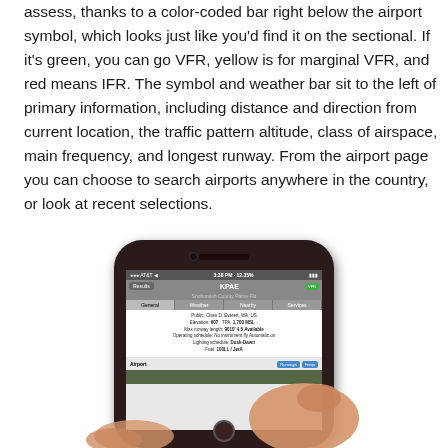assess, thanks to a color-coded bar right below the airport symbol, which looks just like you'd find it on the sectional. If it's green, you can go VFR, yellow is for marginal VFR, and red means IFR. The symbol and weather bar sit to the left of primary information, including distance and direction from current location, the traffic pattern altitude, class of airspace, main frequency, and longest runway. From the airport page you can choose to search airports anywhere in the country, or look at recent selections.
[Figure (photo): A hand holding an iPhone displaying an airport information screen showing KPAE (Snohomish County Paine Field) with tabs for General, Weather, Nearby, Services and airport details including elevation, TPA, runway length, operating schedule, lighting schedule, and fuel information.]